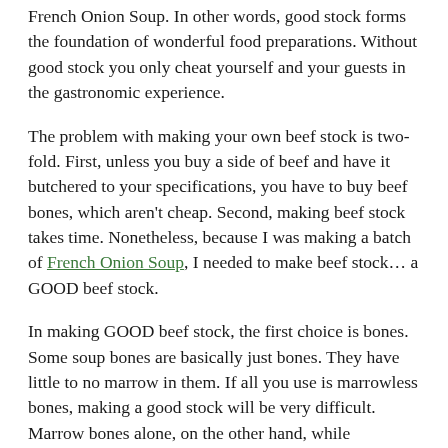French Onion Soup. In other words, good stock forms the foundation of wonderful food preparations. Without good stock you only cheat yourself and your guests in the gastronomic experience.
The problem with making your own beef stock is two-fold. First, unless you buy a side of beef and have it butchered to your specifications, you have to buy beef bones, which aren't cheap. Second, making beef stock takes time. Nonetheless, because I was making a batch of French Onion Soup, I needed to make beef stock… a GOOD beef stock.
In making GOOD beef stock, the first choice is bones. Some soup bones are basically just bones. They have little to no marrow in them. If all you use is marrowless bones, making a good stock will be very difficult. Marrow bones alone, on the other hand, while providing great depth of flavor and umami smoothness, also are lacking in flavor if that is all you use. You need a combination of marrow bones and meat. Choices for